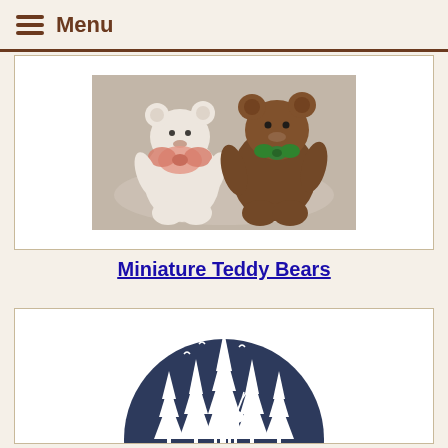Menu
[Figure (photo): Two stuffed teddy bears on a lace doily — a white bear with a pink ribbon bow and a brown bear with a green bow.]
Miniature Teddy Bears
[Figure (illustration): A dark navy circular embroidered patch or logo showing a silhouette scene of pine trees and a deer/reindeer with white outlines against dark background, partially visible.]